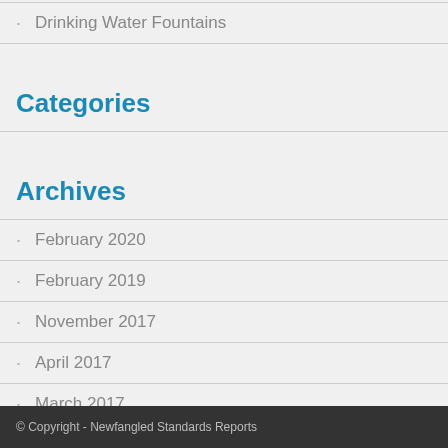Drinking Water Fountains
Categories
Archives
February 2020
February 2019
November 2017
April 2017
March 2017
© Copyright - Newfangled Standards Reports